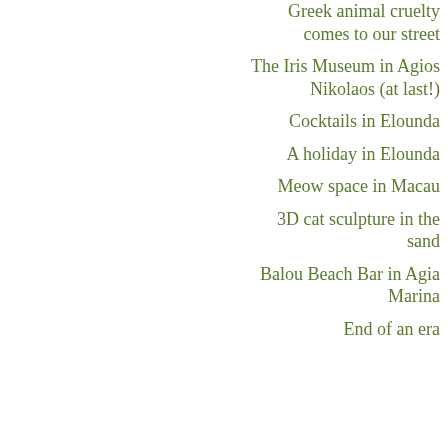Greek animal cruelty comes to our street
The Iris Museum in Agios Nikolaos (at last!)
Cocktails in Elounda
A holiday in Elounda
Meow space in Macau
3D cat sculpture in the sand
Balou Beach Bar in Agia Marina
End of an era